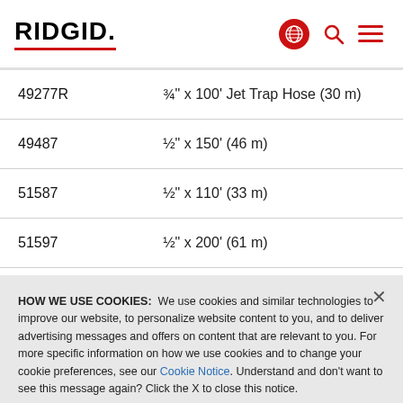RIDGID.
| Part No. | Description |
| --- | --- |
| 49277R | ¾" x 100' Jet Trap Hose (30 m) |
| 49487 | ½" x 150' (46 m) |
| 51587 | ½" x 110' (33 m) |
| 51597 | ½" x 200' (61 m) |
HOW WE USE COOKIES: We use cookies and similar technologies to improve our website, to personalize website content to you, and to deliver advertising messages and offers on content that are relevant to you. For more specific information on how we use cookies and to change your cookie preferences, see our Cookie Notice. Understand and don't want to see this message again? Click the X to close this notice.